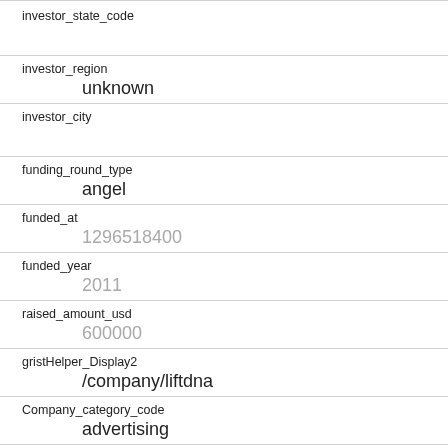investor_state_code
investor_region
unknown
investor_city
funding_round_type
angel
funded_at
1296518400
funded_year
2011
raised_amount_usd
600000
gristHelper_Display2
/company/liftdna
Company_category_code
advertising
Investor
Yuxi Pacific